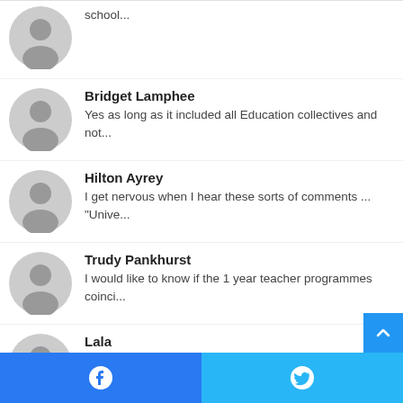school...
Bridget Lamphee
Yes as long as it included all Education collectives and not...
Hilton Ayrey
I get nervous when I hear these sorts of comments ... "Unive...
Trudy Pankhurst
I would like to know if the 1 year teacher programmes coinci...
Lala
I totally agree. There is so much to learn and apply. I am p...